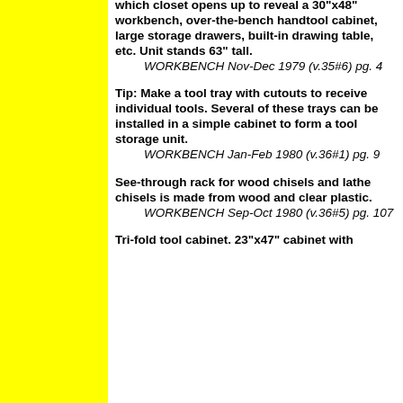which closet opens up to reveal a 30"x48" workbench, over-the-bench handtool cabinet, large storage drawers, built-in drawing table, etc. Unit stands 63" tall. WORKBENCH Nov-Dec 1979 (v.35#6) pg. 4
Tip: Make a tool tray with cutouts to receive individual tools. Several of these trays can be installed in a simple cabinet to form a tool storage unit. WORKBENCH Jan-Feb 1980 (v.36#1) pg. 9
See-through rack for wood chisels and lathe chisels is made from wood and clear plastic. WORKBENCH Sep-Oct 1980 (v.36#5) pg. 107
Tri-fold tool cabinet. 23"x47" cabinet with